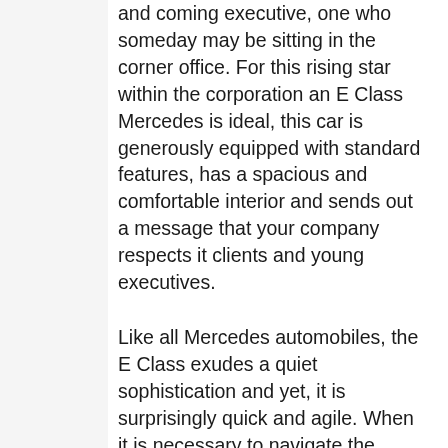and coming executive, one who someday may be sitting in the corner office. For this rising star within the corporation an E Class Mercedes is ideal, this car is generously equipped with standard features, has a spacious and comfortable interior and sends out a message that your company respects it clients and young executives.
Like all Mercedes automobiles, the E Class exudes a quiet sophistication and yet, it is surprisingly quick and agile. When it is necessary to navigate the streets of London with its sop and go traffic it is comforting to know that the four cylinder diesel